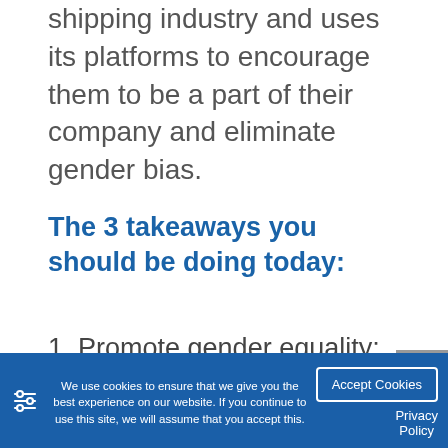shipping industry and uses its platforms to encourage them to be a part of their company and eliminate gender bias.
The 3 takeaways you should be doing today:
1. Promote gender equality; we all want to feel like we can be a part of any industry, whether men or women
We use cookies to ensure that we give you the best experience on our website. If you continue to use this site, we will assume that you accept this.